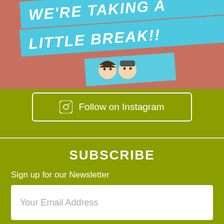[Figure (photo): Banner image showing text 'WE'RE TAKING A LITTLE BREAK!!' with two small avatar characters on a reddish-brown background]
Follow on Instagram
SUBSCRIBE
Sign up for our Newsletter
Your Email Address